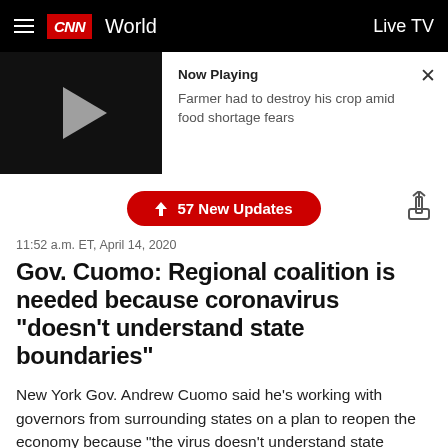CNN World | Live TV
[Figure (screenshot): Video player showing a dark thumbnail with a play button on the left and 'Now Playing' label with text 'Farmer had to destroy his crop amid food shortage fears' on the right, plus a close X button]
↑ 57 New Updates
11:52 a.m. ET, April 14, 2020
Gov. Cuomo: Regional coalition is needed because coronavirus "doesn't understand state boundaries"
New York Gov. Andrew Cuomo said he's working with governors from surrounding states on a plan to reopen the economy because "the virus doesn't understand state boundaries."